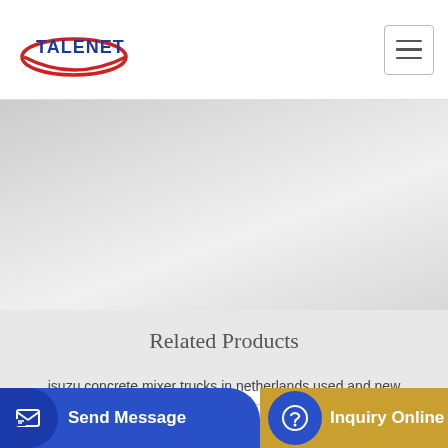TALENET
[Figure (photo): Decorative banner/hero image area with light grey textured background]
Related Products
isuzu concrete mixer trucks in netherlands used and new
hot selling new design mobile concrete batching plant
ncrete (partial text visible)
Send Message
Inquiry Online